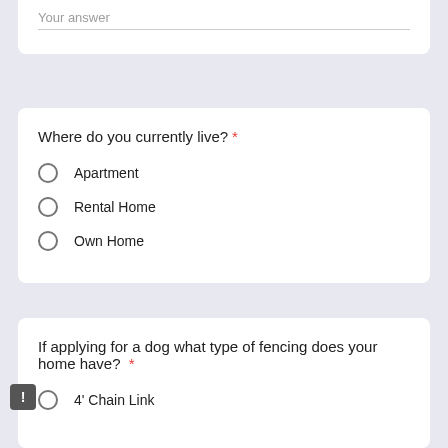Your answer
Where do you currently live? *
Apartment
Rental Home
Own Home
If applying for a dog what type of fencing does your home have? *
4' Chain Link